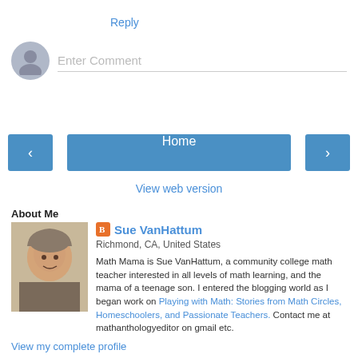Reply
Enter Comment
Home
View web version
About Me
Sue VanHattum
Richmond, CA, United States
Math Mama is Sue VanHattum, a community college math teacher interested in all levels of math learning, and the mama of a teenage son. I entered the blogging world as I began work on Playing with Math: Stories from Math Circles, Homeschoolers, and Passionate Teachers. Contact me at mathanthologyeditor on gmail etc.
View my complete profile